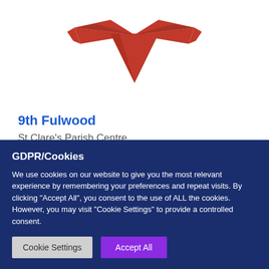[Figure (logo): Red scout/wing logo shaped like a bird or bowtie with a downward pointing triangle in the center]
9th Fulwood
St Clare's Parish Centre
Fulwood
P...
GDPR/Cookies
We use cookies on our website to give you the most relevant experience by remembering your preferences and repeat visits. By clicking “Accept All”, you consent to the use of ALL the cookies. However, you may visit "Cookie Settings" to provide a controlled consent.
Cookie Settings
Accept All